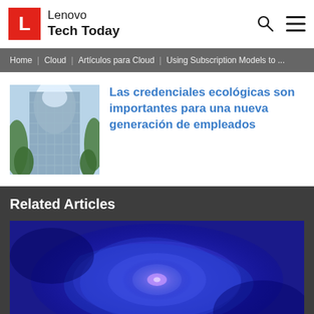Lenovo Tech Today
Home | Cloud | Artículos para Cloud | Using Subscription Models to ...
[Figure (photo): Looking up at a modern glass building from ground level, surrounded by green trees and bright sky]
Las credenciales ecológicas son importantes para una nueva generación de empleados
Related Articles
[Figure (photo): Abstract blurred blue glowing circular tech/science image]